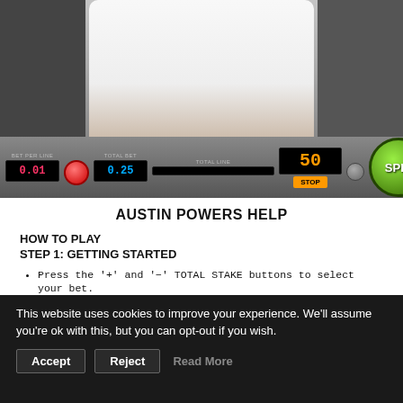[Figure (screenshot): Screenshot of Austin Powers slot machine game interface showing control bar with BET PER LINE (0.01), TOTAL BET (0.25), TOTAL LINE displays, a score of 50 in orange, STOP button, and green SPIN button]
AUSTIN POWERS HELP
HOW TO PLAY
STEP 1: GETTING STARTED
Press the '+' and '−' TOTAL STAKE buttons to select your bet.
All win lines must be played
Click on the pay table button to view the paytable (from the top bar or the 'i' button in the menu bar accessed via the 'burger
This website uses cookies to improve your experience. We'll assume you're ok with this, but you can opt-out if you wish.
Accept   Reject   Read More